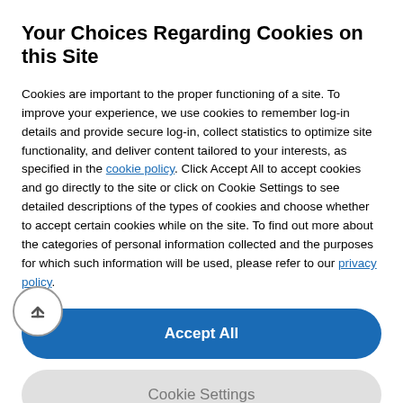Your Choices Regarding Cookies on this Site
Cookies are important to the proper functioning of a site. To improve your experience, we use cookies to remember log-in details and provide secure log-in, collect statistics to optimize site functionality, and deliver content tailored to your interests, as specified in the cookie policy. Click Accept All to accept cookies and go directly to the site or click on Cookie Settings to see detailed descriptions of the types of cookies and choose whether to accept certain cookies while on the site. To find out more about the categories of personal information collected and the purposes for which such information will be used, please refer to our privacy policy.
[Figure (other): Blue 'Accept All' button with rounded corners]
[Figure (other): Grey 'Cookie Settings' button with rounded corners]
significant work experience, nav lifications you have gained elsewhere, or a degree or qualification that isn't a clear